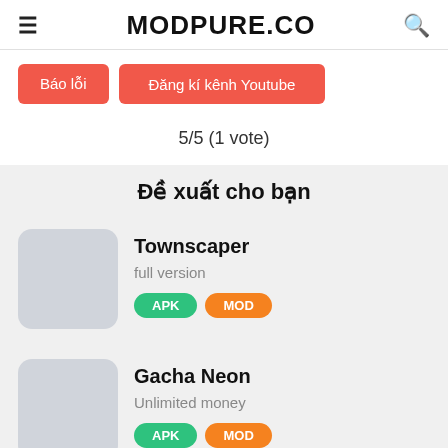MODPURE.CO
Báo lỗi
Đăng kí kênh Youtube
5/5 (1 vote)
Đề xuất cho bạn
Townscaper
full version
APK MOD
Gacha Neon
Unlimited money
APK MOD